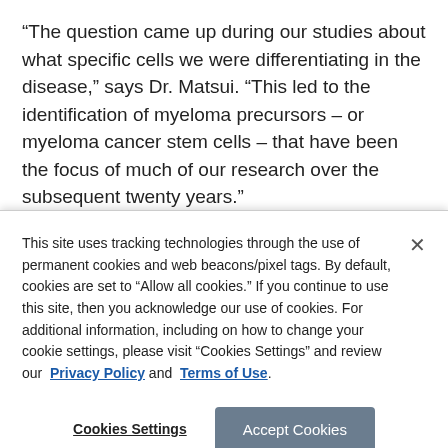“The question came up during our studies about what specific cells we were differentiating in the disease,” says Dr. Matsui. “This led to the identification of myeloma precursors – or myeloma cancer stem cells – that have been the focus of much of our research over the subsequent twenty years.”
Cancer stem cells are understood to be a main cause of
This site uses tracking technologies through the use of permanent cookies and web beacons/pixel tags. By default, cookies are set to “Allow all cookies.” If you continue to use this site, then you acknowledge our use of cookies. For additional information, including on how to change your cookie settings, please visit “Cookies Settings” and review our Privacy Policy and Terms of Use.
Cookies Settings
Accept Cookies